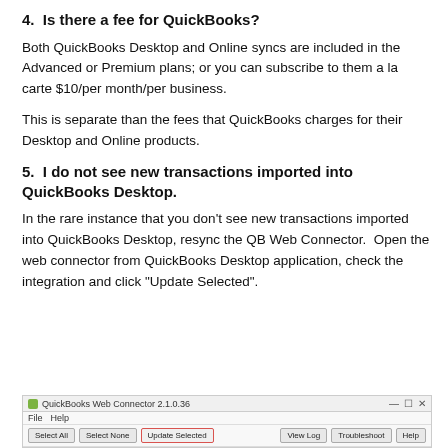4.  Is there a fee for QuickBooks?
Both QuickBooks Desktop and Online syncs are included in the Advanced or Premium plans; or you can subscribe to them a la carte $10/per month/per business.
This is separate than the fees that QuickBooks charges for their Desktop and Online products.
5.  I do not see new transactions imported into QuickBooks Desktop.
In the rare instance that you don't see new transactions imported into QuickBooks Desktop, resync the QB Web Connector.  Open the web connector from QuickBooks Desktop application, check the integration and click "Update Selected".
[Figure (screenshot): QuickBooks Web Connector 2.1.0.36 application window showing toolbar with Select All, Select None, Update Selected (highlighted in red border) buttons and View Log, Troubleshoot, Help buttons on the right.]